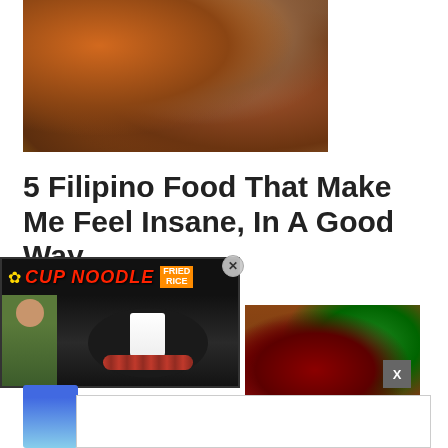[Figure (photo): Close-up photo of dark brown braised/caramelized pork cubes (Filipino adobo or similar dish)]
5 Filipino Food That Make Me Feel Insane, In A Good Way
[Figure (photo): Cup Noodle Fried Rice advertisement overlay showing a person in green vest, a black plate with cup noodle and sausages]
[Figure (photo): Partial food photo on right side showing red peppers and sauced meat]
[Figure (photo): Partial blue and white bowl photo at bottom left]
[Figure (other): White advertisement box placeholder at bottom right]